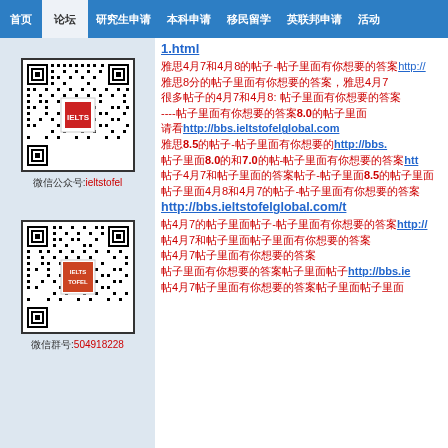首页 论坛 研究生申请 本科申请 移民留学 英联邦申请 活动
1.html
雅思4月7和4月8的帖子-帖子里面有你想要的答案http://...
雅思8分的帖子里面有你想要的答案，雅思4月7...
很多帖子的4月7和4月8: 帖子里面有你想要的答案
----帖子里面有你想要的答案8.0的帖子里面
请看http://bbs.ieltstofelglobal.com...
雅思8.5的帖子-帖子里面有你想要的http://bbs....
帖子里面8.0的和7.0的帖-帖子里面有你想要的答案http://...
帖子4月7和帖子里面的答案帖子-帖子里面8.5的帖子里面...
帖子里面4月8和4月7的帖子-帖子里面有你想要的答案...
http://bbs.ieltstofelglobal.com/t...
帖4月7的帖子里面帖子-帖子里面有你想要的答案http://...
帖4月7和帖子里面帖子里面有你想要的答案...
帖4月7帖子里面有你想要的答案
帖子里面有你想要的答案帖子里面帖子http://bbs.ie...
帖4月7帖子里面有你想要的答案帖子里面帖子里面...
[Figure (other): QR code with label: 微信公众号:ieltstofel]
微信公众号:ieltstofel
[Figure (other): QR code with label: 微信群号:504918228]
微信群号:504918228